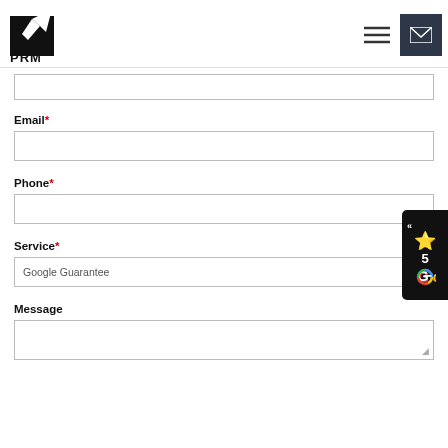[Figure (logo): PRM logo with rocket/arrow graphic and text PRM below]
[Figure (infographic): Hamburger menu icon (three horizontal lines)]
[Figure (infographic): Dark square mail/envelope button]
(partial text input field - top cut off)
Email*
(email text input field)
Phone*
(phone text input field)
Service*
Google Guarantee (dropdown)
Message
(message textarea field)
[Figure (infographic): Review widget showing chevron «, gold star, number 5, and Google G logo]